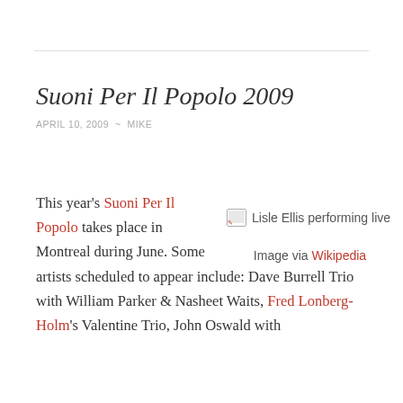Suoni Per Il Popolo 2009
APRIL 10, 2009  ~  MIKE
This year's Suoni Per Il Popolo takes place in Montreal during June. Some artists scheduled to appear include: Dave Burrell Trio with William Parker & Nasheet Waits, Fred Lonberg-Holm's Valentine Trio, John Oswald with
[Figure (photo): Lisle Ellis performing live (image placeholder with broken image icon)]
Image via Wikipedia